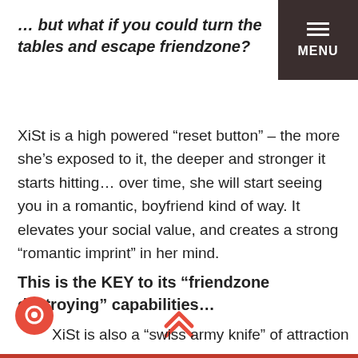… but what if you could turn the tables and escape friendzone?
XiSt is a high powered “reset button” – the more she’s exposed to it, the deeper and stronger it starts hitting… over time, she will start seeing you in a romantic, boyfriend kind of way. It elevates your social value, and creates a strong “romantic imprint” in her mind.
This is the KEY to its “friendzone destroying” capabilities…
XiSt is also a “swiss army knife” of attraction